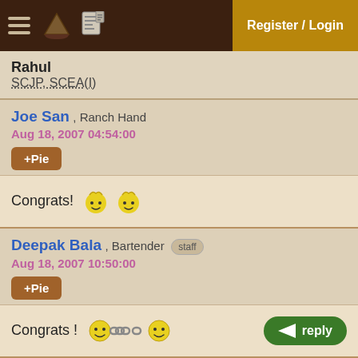Register / Login
Rahul
SCJP, SCEA(I)
Joe San , Ranch Hand
Aug 18, 2007 04:54:00
+Pie
Congrats! [emoji] [emoji]
Deepak Bala , Bartender staff
Aug 18, 2007 10:50:00
+Pie
Congrats ! [emoji chain] reply
Daniel Abella , Ranch Hand